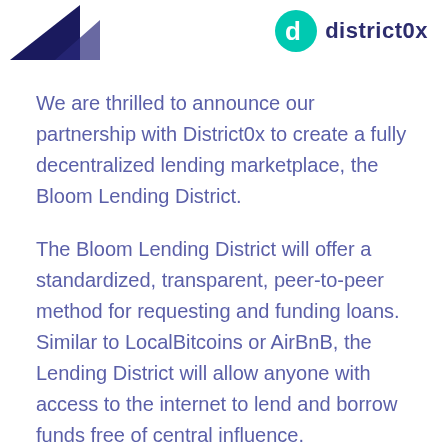[Figure (logo): Two logos side by side: a dark navy Bloom logo (triangular shape) on the left, and the district0x logo (teal 'd' icon with dark navy text 'district0x') on the right.]
We are thrilled to announce our partnership with District0x to create a fully decentralized lending marketplace, the Bloom Lending District.
The Bloom Lending District will offer a standardized, transparent, peer-to-peer method for requesting and funding loans. Similar to LocalBitcoins or AirBnB, the Lending District will allow anyone with access to the internet to lend and borrow funds free of central influence.